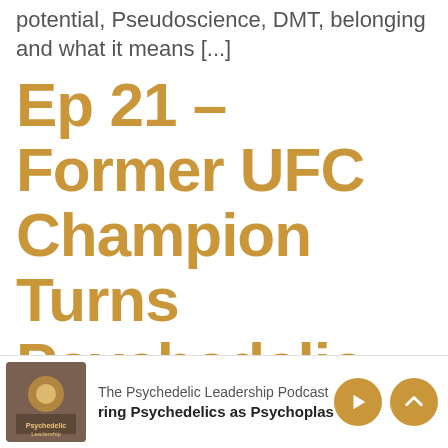potential, Pseudoscience, DMT, belonging and what it means [...]
Ep 21 – Former UFC Champion Turns Psychedelic Advocate: Rashad Evans
[Figure (screenshot): Podcast player footer bar showing The Psychedelic Leadership Podcast thumbnail, podcast name, episode title excerpt 'ring Psychedelics as Psychoplastog', and two controls: a play button and an up-arrow button, both golden/amber colored circles.]